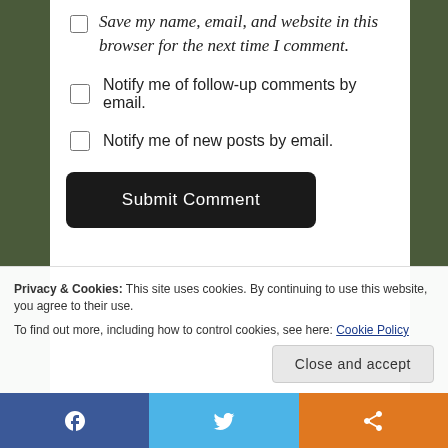Save my name, email, and website in this browser for the next time I comment.
Notify me of follow-up comments by email.
Notify me of new posts by email.
Submit Comment
Privacy & Cookies: This site uses cookies. By continuing to use this website, you agree to their use. To find out more, including how to control cookies, see here: Cookie Policy
Close and accept